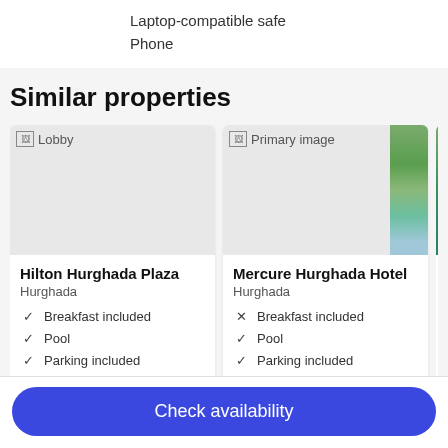Laptop-compatible safe
Phone
Similar properties
[Figure (photo): Lobby image placeholder for Hilton Hurghada Plaza hotel card]
Hilton Hurghada Plaza
Hurghada
✓ Breakfast included
✓ Pool
✓ Parking included
[Figure (photo): Primary image placeholder for Mercure Hurghada Hotel card]
Mercure Hurghada Hotel
Hurghada
✗ Breakfast included
✓ Pool
✓ Parking included
Check availability